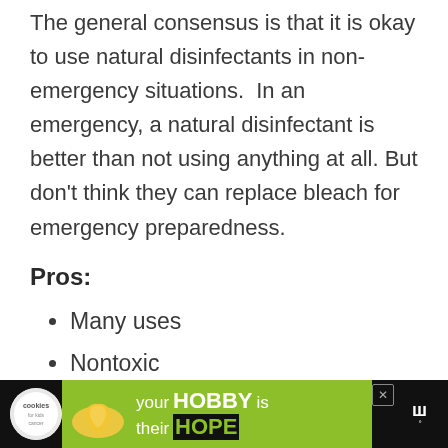The general consensus is that it is okay to use natural disinfectants in non-emergency situations.  In an emergency, a natural disinfectant is better than not using anything at all. But don't think they can replace bleach for emergency preparedness.
Pros:
Many uses
Nontoxic
Cheap
[Figure (other): Advertisement banner at bottom of page showing cookies for kids cancer charity ad with green heart image and your HOBBY is their HOPE text]